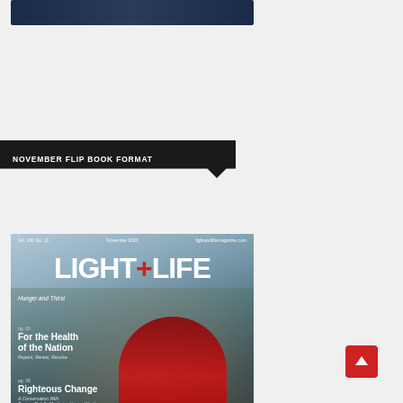[Figure (photo): Dark blue/navy image strip at top of page, partial view of a previous image]
NOVEMBER FLIP BOOK FORMAT
[Figure (photo): Magazine cover for Light+Life November 2020. Features a person in a red jacket looking upward against a blurred forest/nature background. Cover lines include: Hunger and Thirst; pg. 06 For the Health of the Nation - Repent, Renew, Resolve; pg. 08 Righteous Change - A Conversation With Pastors Estelle Martin and Laura Warth; pg. 14 We're Not There Yet, But We're Heading There Still! - Step Into What's Right]
[Figure (other): Red scroll-to-top button with upward arrow in bottom right corner]